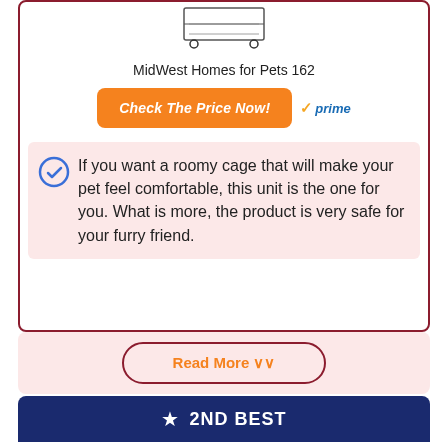[Figure (photo): Product image of MidWest Homes for Pets 162 cage with wire shelves on wheels, partially visible at top]
MidWest Homes for Pets 162
Check The Price Now!
✓prime
If you want a roomy cage that will make your pet feel comfortable, this unit is the one for you. What is more, the product is very safe for your furry friend.
Read More ⌄⌄
2ND BEST